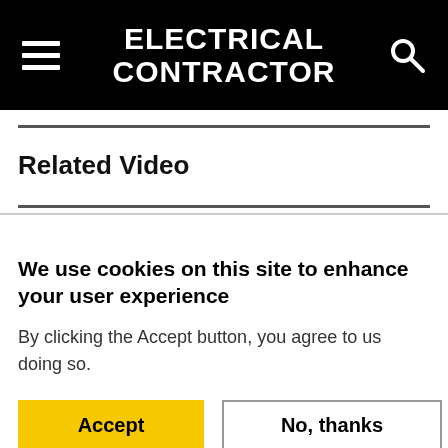ELECTRICAL CONTRACTOR
Related Video
We use cookies on this site to enhance your user experience
By clicking the Accept button, you agree to us doing so.
Accept
No, thanks